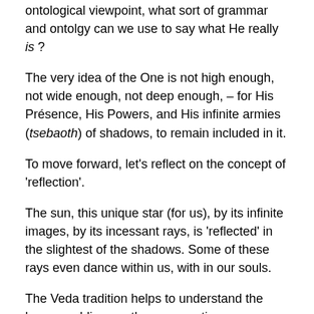ontological viewpoint, what sort of grammar and ontolgy can we use to say what He really is ?
The very idea of the One is not high enough, not wide enough, not deep enough, – for His Présence, His Powers, and His infinite armies (tsebaoth) of shadows, to remain included in it.
To move forward, let's reflect on the concept of 'reflection'.
The sun, this unique star (for us), by its infinite images, by its incessant rays, is 'reflected' in the slightest of the shadows. Some of these rays even dance within us, with in our souls.
The Veda tradition helps to understand the lesson, adding another perspective.
The God Surya, who is called 'Sun', says the Veda, has a